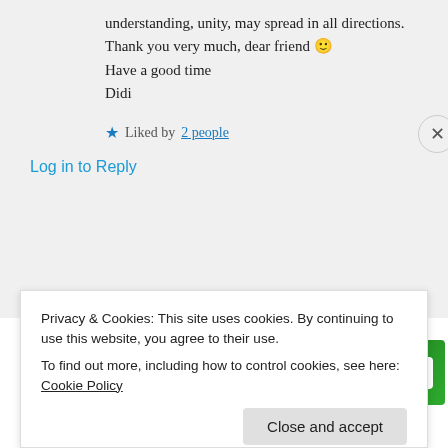understanding, unity, may spread in all directions.
Thank you very much, dear friend 🙂
Have a good time
Didi
★ Liked by 2 people
Log in to Reply
Advertisements
[Figure (screenshot): Jetpack advertisement banner with green background, Jetpack logo, and 'Back up your site' button]
Privacy & Cookies: This site uses cookies. By continuing to use this website, you agree to their use.
To find out more, including how to control cookies, see here: Cookie Policy
Close and accept